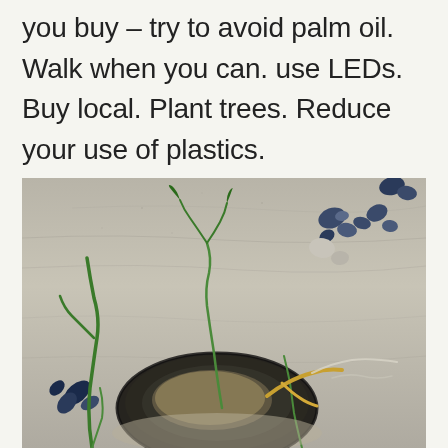you buy – try to avoid palm oil. Walk when you can. use LEDs. Buy local. Plant trees. Reduce your use of plastics.
[Figure (photo): A beach scene showing wet sand with a large dark circular object (possibly a tire or rock) partially buried in the sand, surrounded by green seaweed strands, blue mussels, yellow and white debris, and small blue shells or pebbles scattered around.]